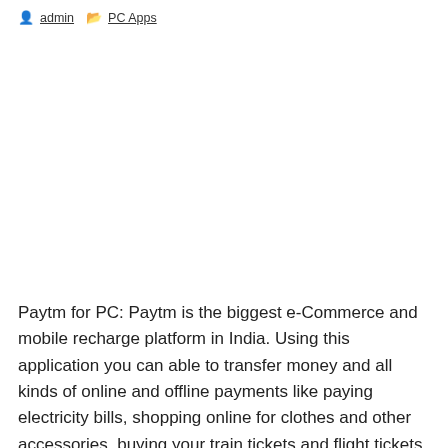admin  PC Apps
Paytm for PC: Paytm is the biggest e-Commerce and mobile recharge platform in India. Using this application you can able to transfer money and all kinds of online and offline payments like paying electricity bills, shopping online for clothes and other accessories, buying your train tickets and flight tickets and more. The provide semi-closed mobile Wallet service for sharing your […]